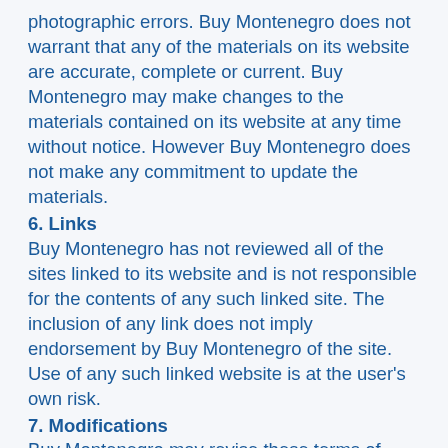photographic errors. Buy Montenegro does not warrant that any of the materials on its website are accurate, complete or current. Buy Montenegro may make changes to the materials contained on its website at any time without notice. However Buy Montenegro does not make any commitment to update the materials.
6. Links
Buy Montenegro has not reviewed all of the sites linked to its website and is not responsible for the contents of any such linked site. The inclusion of any link does not imply endorsement by Buy Montenegro of the site. Use of any such linked website is at the user's own risk.
7. Modifications
Buy Montenegro may revise these terms of service for its website at any time without notice. By using this website you are agreeing to be bound by the then current version of these terms